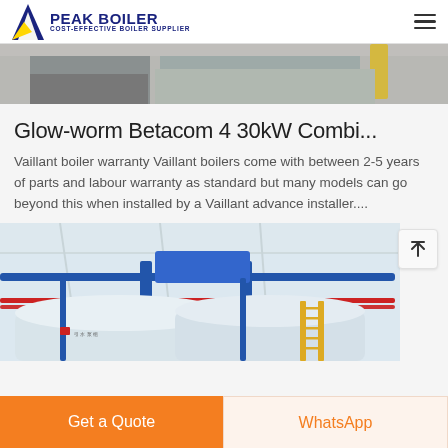PEAK BOILER COST-EFFECTIVE BOILER SUPPLIER
[Figure (photo): Partial view of industrial boiler or HVAC equipment in a warehouse/factory setting, showing grey and white machinery on the floor with yellow support poles visible in background.]
Glow-worm Betacom 4 30kW Combi...
Vaillant boiler warranty Vaillant boilers come with between 2-5 years of parts and labour warranty as standard but many models can go beyond this when installed by a Vaillant advance installer....
[Figure (photo): Interior of an industrial boiler room or factory showing large white cylindrical boiler tanks with blue pipe framework overhead, red pipes running horizontally, and a yellow ladder leaning against a tank.]